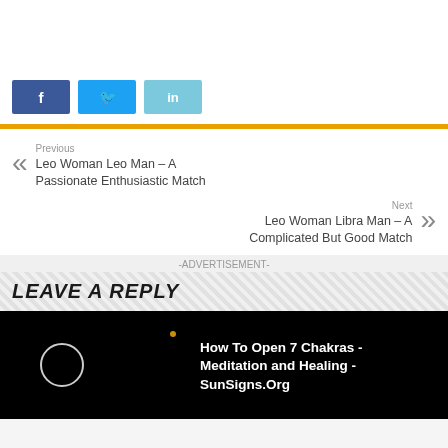[Figure (screenshot): Social share buttons: Facebook (f), Twitter (bird), LinkedIn (in)]
Previous
Leo Woman Leo Man – A Passionate Enthusiastic Match
Next
Leo Woman Libra Man – A Complicated But Good Match
-ADVERTISEMENT-
LEAVE A REPLY
[Figure (screenshot): Video thumbnail: How To Open 7 Chakras - Meditation and Healing - SunSigns.Org]